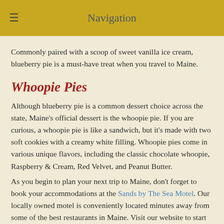Navigation
Commonly paired with a scoop of sweet vanilla ice cream, blueberry pie is a must-have treat when you travel to Maine.
Whoopie Pies
Although blueberry pie is a common dessert choice across the state, Maine's official dessert is the whoopie pie. If you are curious, a whoopie pie is like a sandwich, but it's made with two soft cookies with a creamy white filling. Whoopie pies come in various unique flavors, including the classic chocolate whoopie, Raspberry & Cream, Red Velvet, and Peanut Butter.
As you begin to plan your next trip to Maine, don't forget to book your accommodations at the Sands by The Sea Motel. Our locally owned motel is conveniently located minutes away from some of the best restaurants in Maine. Visit our website to start booking your stay!
Posted in Maine Lobster, Things to do in York Beach | Tagged Foods to Try in Maine, Maine lobster, maine seafood, traveling to